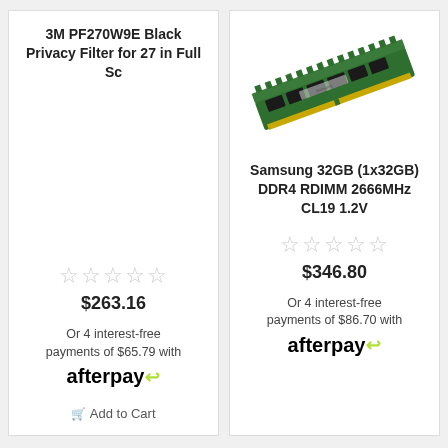3M PF270W9E Black Privacy Filter for 27 in Full Sc
☆☆☆☆☆
$263.16
Or 4 interest-free payments of $65.79 with afterpay
Add to Cart
[Figure (photo): Samsung DDR4 RDIMM memory stick angled diagonally, green PCB with black memory chips and gold edge connector]
Samsung 32GB (1x32GB) DDR4 RDIMM 2666MHz CL19 1.2V
☆☆☆☆☆
$346.80
Or 4 interest-free payments of $86.70 with afterpay